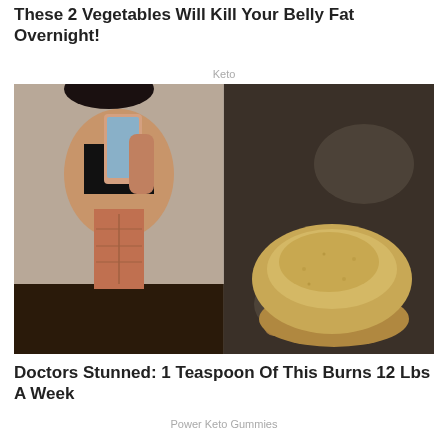These 2 Vegetables Will Kill Your Belly Fat Overnight!
Keto
[Figure (photo): Two-panel composite image. Left panel: a fit woman in a black swimsuit taking a mirror selfie, showing toned abs. Right panel: a spoonful of yellow-brown powder (spice or supplement) on a dark background.]
Doctors Stunned: 1 Teaspoon Of This Burns 12 Lbs A Week
Power Keto Gummies